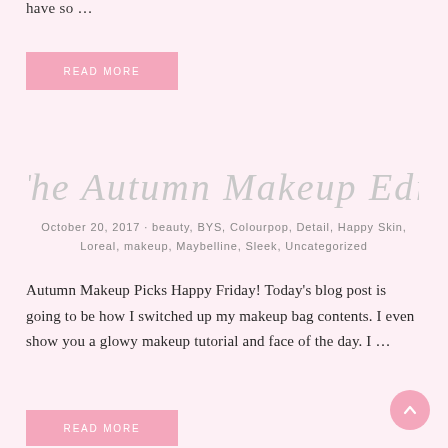have so …
READ MORE
The Autumn Makeup Edit
October 20, 2017 · beauty, BYS, Colourpop, Detail, Happy Skin, Loreal, makeup, Maybelline, Sleek, Uncategorized
Autumn Makeup Picks Happy Friday! Today's blog post is going to be how I switched up my makeup bag contents. I even show you a glowy makeup tutorial and face of the day. I …
READ MORE